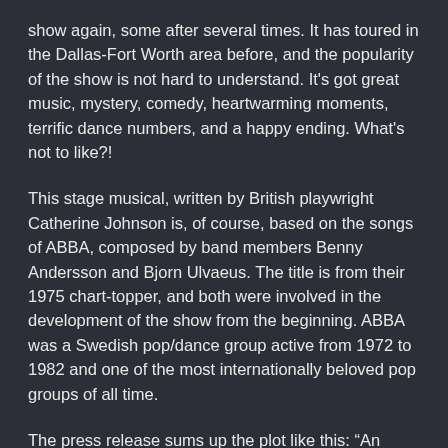show again, some after several times. It has toured in the Dallas-Fort Worth area before, and the popularity of the show is not hard to understand. It's got great music, mystery, comedy, heartwarming moments, terrific dance numbers, and a happy ending. What's not to like?!
This stage musical, written by British playwright Catherine Johnson is, of course, based on the songs of ABBA, composed by band members Benny Andersson and Bjorn Ulvaeus. The title is from their 1975 chart-topper, and both were involved in the development of the show from the beginning. ABBA was a Swedish pop/dance group active from 1972 to 1982 and one of the most internationally beloved pop groups of all time.
The press release sums up the plot like this: “An independent, single mother who owns a small hotel on an idyllic Greek island, Donna is about to let go of Sophie, the spirited daughter she’s raised alone. … On a quest to find the identity of her father to walk her down the aisle, (Sophie) brings back three men from Donna’s past. ….Over 24 chaotic,